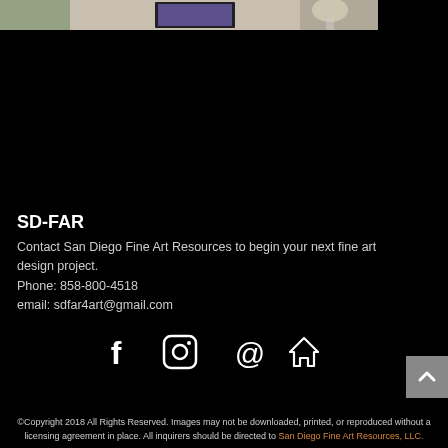[Figure (photo): Partial photo strip at top showing an interior room with framed artwork on a stone wall, a green plant, and a lamp.]
SD-FAR
Contact San Diego Fine Art Resources to begin your next fine art design project.
Phone: 858-800-4518
email: sdfar4art@gmail.com
[Figure (other): Row of four social media icons: Facebook (f), Instagram (camera), Email (@), and Home (house).]
©Copyright 2018 All Rights Reserved. Images may not be downloaded, printed, or reproduced without a licensing agreement in place. All inquirers should be directed to San Diego Fine Art Resources, LLC.